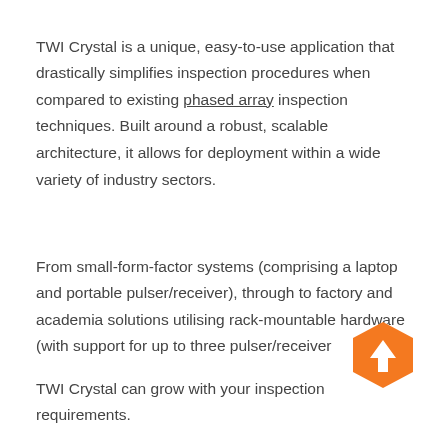TWI Crystal is a unique, easy-to-use application that drastically simplifies inspection procedures when compared to existing phased array inspection techniques. Built around a robust, scalable architecture, it allows for deployment within a wide variety of industry sectors.
From small-form-factor systems (comprising a laptop and portable pulser/receiver), through to factory and academia solutions utilising rack-mountable hardware (with support for up to three pulser/receiver TWI Crystal can grow with your inspection requirements.
[Figure (other): Orange hexagon navigation button with upward arrow icon]